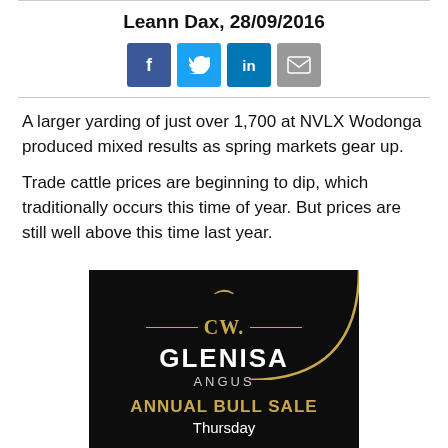Leann Dax, 28/09/2016
[Figure (other): Social sharing icons: Facebook (blue), Twitter (light blue), LinkedIn (dark blue), Email (grey)]
A larger yarding of just over 1,700 at NVLX Wodonga produced mixed results as spring markets gear up.
Trade cattle prices are beginning to dip, which traditionally occurs this time of year. But prices are still well above this time last year.
[Figure (illustration): CW. Glenisa Angus advertisement banner on black background with gold arc decoration. Text reads: CW. GLENISA ANGUS ANNUAL BULL SALE Thursday]